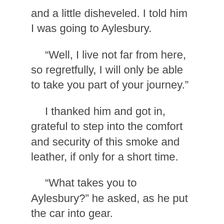and a little disheveled. I told him I was going to Aylesbury.
“Well, I live not far from here, so regretfully, I will only be able to take you part of your journey.”
I thanked him and got in, grateful to step into the comfort and security of this smoke and leather, if only for a short time.
“What takes you to Aylesbury?” he asked, as he put the car into gear.
I told him I was a reporter on the local paper, The Bucks Herald. I needed to get back for work the next day. My first task every Monday morning, as the most…